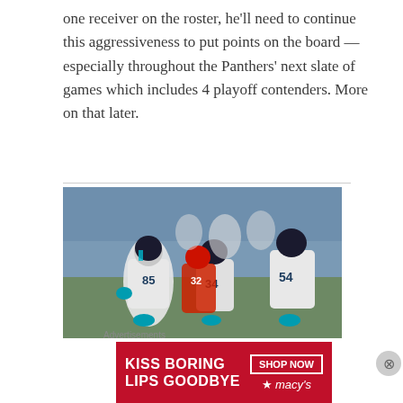one receiver on the roster, he'll need to continue this aggressiveness to put points on the board — especially throughout the Panthers' next slate of games which includes 4 playoff contenders. More on that later.
[Figure (photo): Carolina Panthers football players in white uniforms with teal accents running on field during a game, with opposing player in red Houston Texans helmet]
Advertisements
[Figure (other): Macy's advertisement banner: KISS BORING LIPS GOODBYE with SHOP NOW button and Macy's logo on red background]